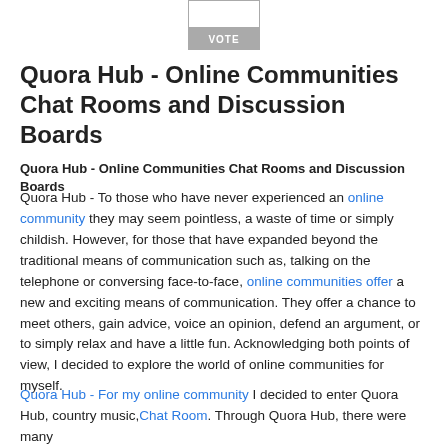[Figure (other): Vote input box and VOTE button]
Quora Hub - Online Communities Chat Rooms and Discussion Boards
Quora Hub - Online Communities Chat Rooms and Discussion Boards
Quora Hub - To those who have never experienced an online community they may seem pointless, a waste of time or simply childish. However, for those that have expanded beyond the traditional means of communication such as, talking on the telephone or conversing face-to-face, online communities offer a new and exciting means of communication. They offer a chance to meet others, gain advice, voice an opinion, defend an argument, or to simply relax and have a little fun. Acknowledging both points of view, I decided to explore the world of online communities for myself.
Quora Hub - For my online community I decided to enter Quora Hub, country music,Chat Room. Through Quora Hub, there were many